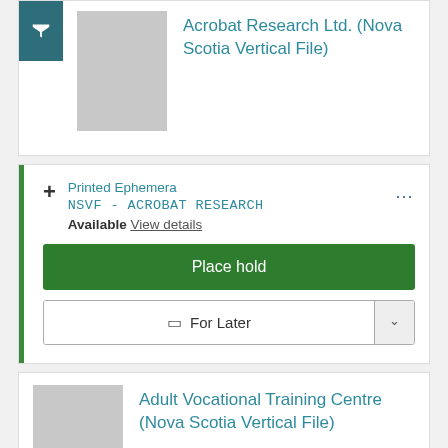Acrobat Research Ltd. (Nova Scotia Vertical File)
Printed Ephemera
NSVF - ACROBAT RESEARCH
Available View details
Place hold
For Later
Adult Vocational Training Centre (Nova Scotia Vertical File)